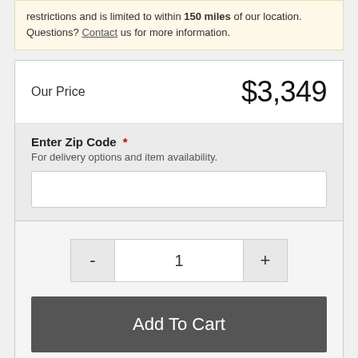restrictions and is limited to within 150 miles of our location. Questions? Contact us for more information.
Our Price  $3,349
Enter Zip Code *
For delivery options and item availability.
- 1 +
Add To Cart
Share This Item